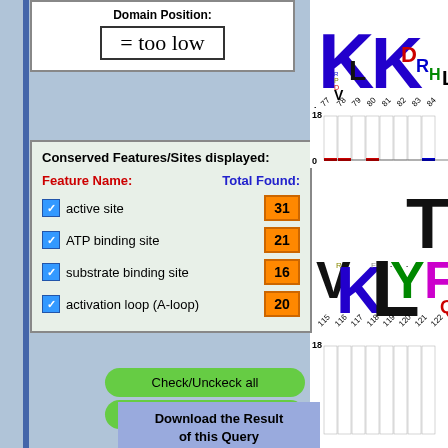Domain Position:
= too low
Conserved Features/Sites displayed:
Feature Name:    Total Found:
active site   31
ATP binding site   21
substrate binding site   16
activation loop (A-loop)   20
Check/Unckeck all
Click for more / less.
Download the Result of this Query
[Figure (other): Sequence logo showing amino acids at positions 77-84, with large K at 77, K at 80, and smaller letters V, L, D, R, H, L]
[Figure (bar-chart): Conservation bar chart with positions 77-84, bars mostly tall white with small red segments at bottom]
[Figure (other): Sequence logo showing amino acids at positions 115-122 with large V, K, L, Y, T, F, Q, I letters]
[Figure (bar-chart): Conservation bar chart at positions 115-122, bottom portion visible]